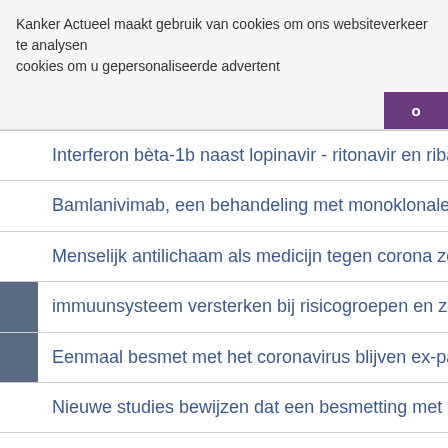Kanker Actueel maakt gebruik van cookies om ons websiteverkeer te analysen cookies om u gepersonaliseerde advertent
Interferon bèta-1b naast lopinavir - ritonavir en ribavirin
Bamlanivimab, een behandeling met monoklonale antilich
Menselijk antilichaam als medicijn tegen corona zou binn
immuunsysteem versterken bij risicogroepen en zorgper
Eenmaal besmet met het coronavirus blijven ex-patienter
Nieuwe studies bewijzen dat een besmetting met het coro
Eiwit blokkeert coronavirus en kan gebruikt worden in ne
Hydroxychloroquine vermindert het sterftecijfer met de h